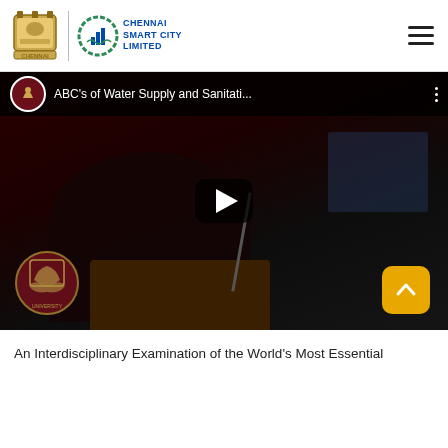Chennai Smart City Limited — navigation header with logos and hamburger menu
[Figure (screenshot): YouTube video embed showing a lecture titled 'ABC's of Water Supply and Sanitation...' with a speaker at a podium, a play button overlay, a university crest watermark at bottom left, and a yellow scroll-up button at bottom right]
An Interdisciplinary Examination of the World's Most Essential